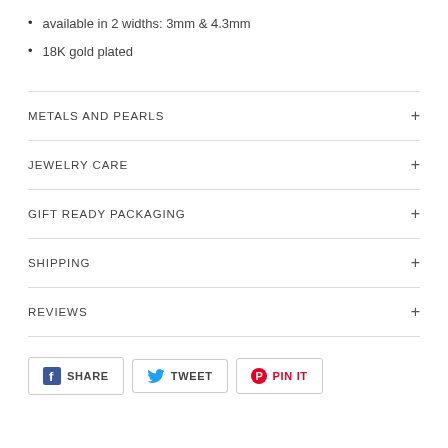available in 2 widths: 3mm & 4.3mm
18K gold plated
METALS AND PEARLS
JEWELRY CARE
GIFT READY PACKAGING
SHIPPING
REVIEWS
SHARE  TWEET  PIN IT